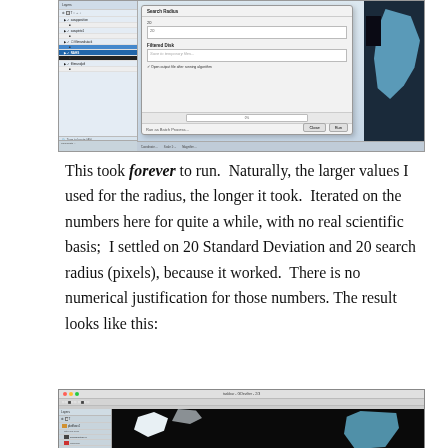[Figure (screenshot): Screenshot of a GIS software dialog box (QGIS or similar) showing search radius and filter disk settings, with a layer panel on the left and a dark map on the right.]
This took forever to run.  Naturally, the larger values I used for the radius, the longer it took.  Iterated on the numbers here for quite a while, with no real scientific basis;  I settled on 20 Standard Deviation and 20 search radius (pixels), because it worked.  There is no numerical justification for those numbers. The result looks like this:
[Figure (screenshot): Screenshot of QGIS showing a mostly black raster layer with small white patches and blue water areas visible, with a layer panel on the left.]